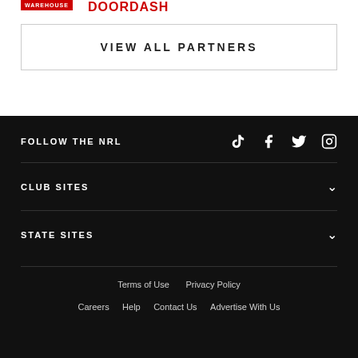[Figure (logo): Warehouse logo in red box]
[Figure (logo): DoorDash logo in red text]
VIEW ALL PARTNERS
FOLLOW THE NRL
CLUB SITES
STATE SITES
Terms of Use  Privacy Policy  Careers  Help  Contact Us  Advertise With Us